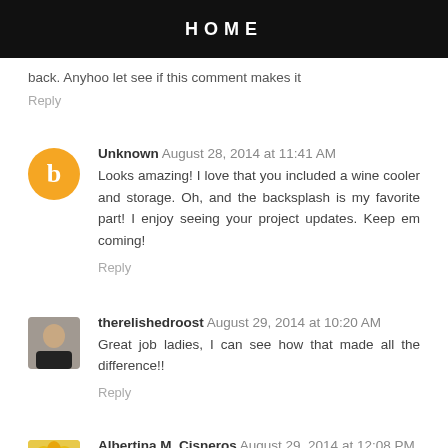HOME
back. Anyhoo let see if this comment makes it
Reply
Unknown  August 28, 2014 at 11:41 AM
Looks amazing! I love that you included a wine cooler and storage. Oh, and the backsplash is my favorite part! I enjoy seeing your project updates. Keep em coming!
Reply
therelishedroost  August 29, 2014 at 10:20 AM
Great job ladies, I can see how that made all the difference!!
Reply
Albertina M. Cisneros  August 29, 2014 at 12:08 PM
such an amazing renovation! Of course it sold the home! I got...